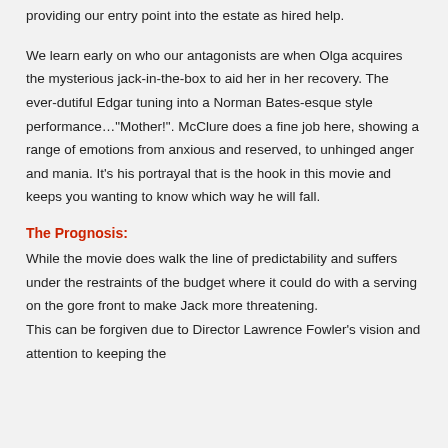providing our entry point into the estate as hired help.
We learn early on who our antagonists are when Olga acquires the mysterious jack-in-the-box to aid her in her recovery. The ever-dutiful Edgar tuning into a Norman Bates-esque style performance…"Mother!". McClure does a fine job here, showing a range of emotions from anxious and reserved, to unhinged anger and mania. It's his portrayal that is the hook in this movie and keeps you wanting to know which way he will fall.
The Prognosis:
While the movie does walk the line of predictability and suffers under the restraints of the budget where it could do with a serving on the gore front to make Jack more threatening.
This can be forgiven due to Director Lawrence Fowler's vision and attention to keeping the